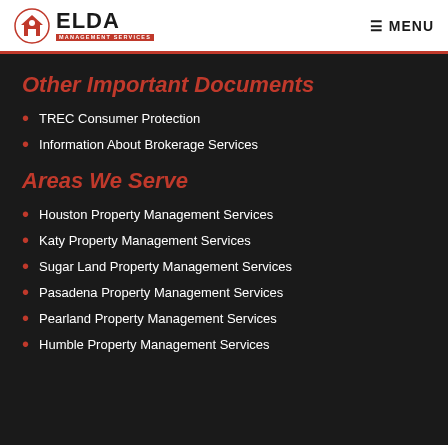ELDA MANAGEMENT SERVICES — MENU
Other Important Documents
TREC Consumer Protection
Information About Brokerage Services
Areas We Serve
Houston Property Management Services
Katy Property Management Services
Sugar Land Property Management Services
Pasadena Property Management Services
Pearland Property Management Services
Humble Property Management Services